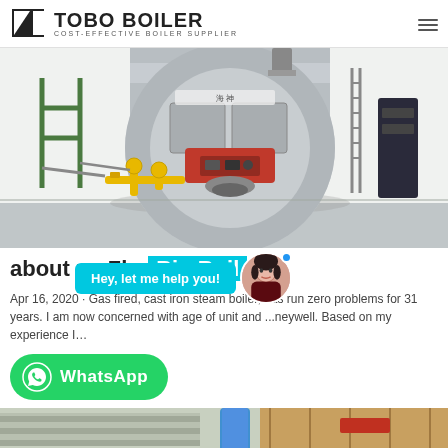TOBO BOILER — COST-EFFECTIVE BOILER SUPPLIER
[Figure (photo): Industrial gas-fired steam boiler installed indoors, large cylindrical vessel with red burner on front, surrounded by yellow gas pipes and fittings, in a white-walled room]
about us Zho... Bio Boil... o'...
Apr 16, 2020 · Gas fired, cast iron steam boiler, has run zero problems for 31 years. I am now concerned with age of unit and ...neywell. Based on my experience I…
[Figure (photo): Partial view of industrial piping and equipment at the bottom of the page]